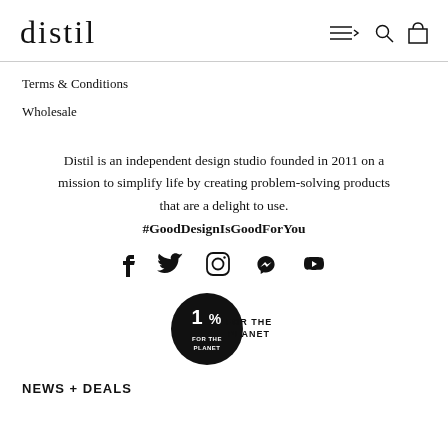distil
Terms & Conditions
Wholesale
Distil is an independent design studio founded in 2011 on a mission to simplify life by creating problem-solving products that are a delight to use. #GoodDesignIsGoodForYou
[Figure (other): Social media icons: Facebook, Twitter, Instagram, Pinterest, Vimeo]
[Figure (logo): 1% for the Planet logo — black circle with '1%' and 'FOR THE PLANET' text]
NEWS + DEALS